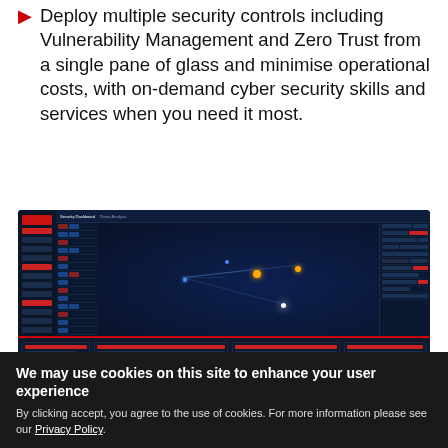Deploy multiple security controls including Vulnerability Management and Zero Trust from a single pane of glass and minimise operational costs, with on-demand cyber security skills and services when you need it most.
[Figure (screenshot): Screenshot of a cybersecurity dashboard interface showing a dark-themed security operations center (SOC) platform with a world map displaying threat connections, data tables with security alerts, and control panels.]
We may use cookies on this site to enhance your user experience
By clicking accept, you agree to the use of cookies. For more information please see our Privacy Policy.